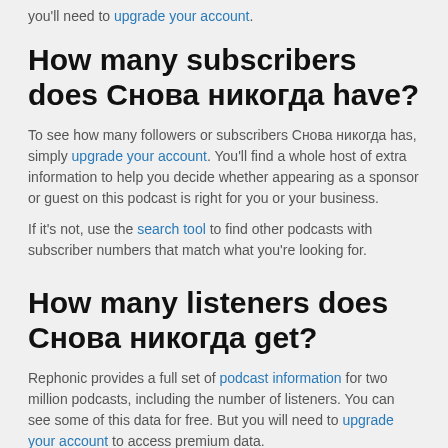you'll need to upgrade your account.
How many subscribers does Снова никогда have?
To see how many followers or subscribers Снова никогда has, simply upgrade your account. You'll find a whole host of extra information to help you decide whether appearing as a sponsor or guest on this podcast is right for you or your business.
If it's not, use the search tool to find other podcasts with subscriber numbers that match what you're looking for.
How many listeners does Снова никогда get?
Rephonic provides a full set of podcast information for two million podcasts, including the number of listeners. You can see some of this data for free. But you will need to upgrade your account to access premium data.